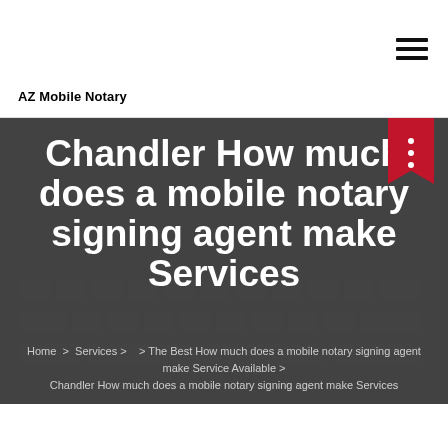AZ Mobile Notary
Chandler How much does a mobile notary signing agent make Services
Home > Services > > The Best How much does a mobile notary signing agent make Service Available > Chandler How much does a mobile notary signing agent make Services